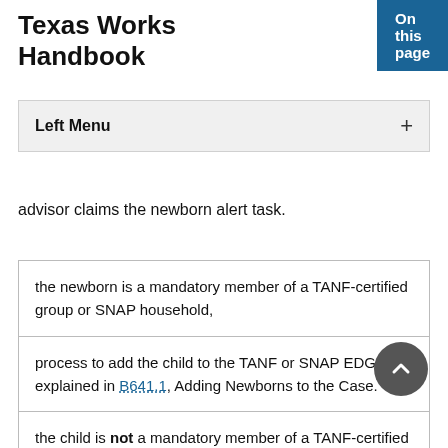On this page
Texas Works Handbook
Left Menu
advisor claims the newborn alert task.
| the newborn is a mandatory member of a TANF-certified group or SNAP household, |
| process to add the child to the TANF or SNAP EDG as explained in B641.1, Adding Newborns to the Case. |
| the child is not a mandatory member of a TANF-certified group, but the child's mother or caretaker |